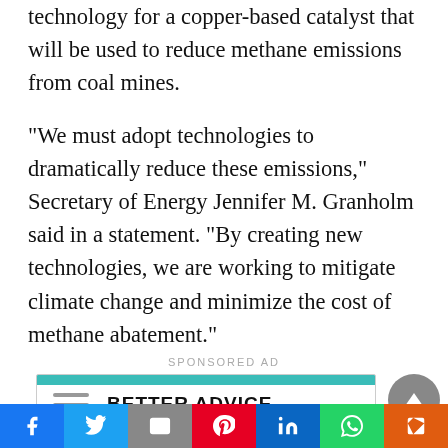technology for a copper-based catalyst that will be used to reduce methane emissions from coal mines.
“We must adopt technologies to dramatically reduce these emissions,”  Secretary of Energy Jennifer M. Granholm said in a statement. “By creating new technologies, we are working to mitigate climate change and minimize the cost of methane abatement.”
[Figure (other): Sponsored ad box with teal header bar, two horizontal lines icon, and 'BETTER ADVICE.' text label]
Página traducible | 이곳에서 | Página traduzível | صفحة قابلة للترجمة
Facebook | Twitter | Email | Pinterest | LinkedIn | WhatsApp | Flipboard